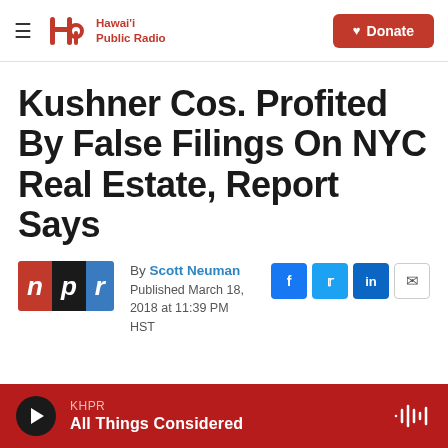Hawai'i Public Radio — Donate
Kushner Cos. Profited By False Filings On NYC Real Estate, Report Says
By Scott Neuman
Published March 18, 2018 at 11:39 PM HST
KHPR — All Things Considered